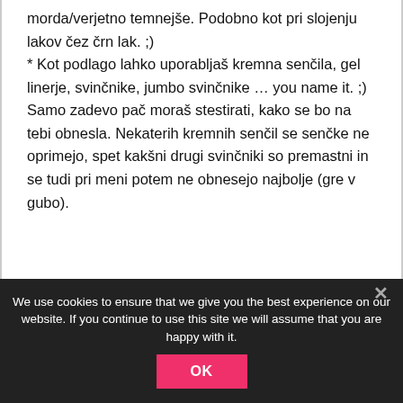morda/verjetno temnejše. Podobno kot pri slojenju lakov čez črn lak. ;)
* Kot podlago lahko uporabljaš kremna senčila, gel linerje, svinčnike, jumbo svinčnike … you name it. ;) Samo zadevo pač moraš stestirati, kako se bo na tebi obnesla. Nekaterih kremnih senčil se senčke ne oprimejo, spet kakšni drugi svinčniki so premastni in se tudi pri meni potem ne obnesejo najbolje (gre v gubo).
We use cookies to ensure that we give you the best experience on our website. If you continue to use this site we will assume that you are happy with it.